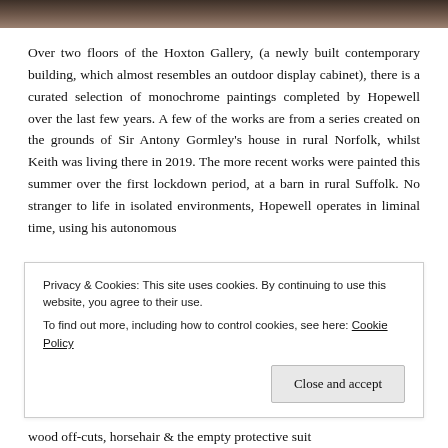[Figure (photo): Cropped bottom portion of a photograph, showing dark brownish tones at the top of the page.]
Over two floors of the Hoxton Gallery, (a newly built contemporary building, which almost resembles an outdoor display cabinet), there is a curated selection of monochrome paintings completed by Hopewell over the last few years. A few of the works are from a series created on the grounds of Sir Antony Gormley's house in rural Norfolk, whilst Keith was living there in 2019. The more recent works were painted this summer over the first lockdown period, at a barn in rural Suffolk. No stranger to life in isolated environments, Hopewell operates in liminal time, using his autonomous
Privacy & Cookies: This site uses cookies. By continuing to use this website, you agree to their use.
To find out more, including how to control cookies, see here: Cookie Policy
Close and accept
wood off-cuts, horsehair & the empty protective suit